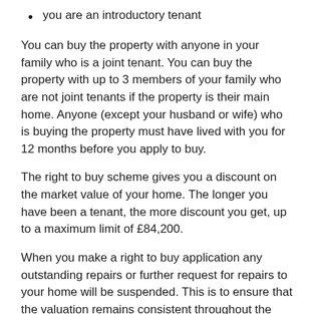you are an introductory tenant
You can buy the property with anyone in your family who is a joint tenant. You can buy the property with up to 3 members of your family who are not joint tenants if the property is their main home. Anyone (except your husband or wife) who is buying the property must have lived with you for 12 months before you apply to buy.
The right to buy scheme gives you a discount on the market value of your home. The longer you have been a tenant, the more discount you get, up to a maximum limit of £84,200.
When you make a right to buy application any outstanding repairs or further request for repairs to your home will be suspended. This is to ensure that the valuation remains consistent throughout the process of the right to buy. Only urgent repairs will be carried out.
Tenants of houses and bungalows can purchase their property freehold whereas those in flats can purchase a